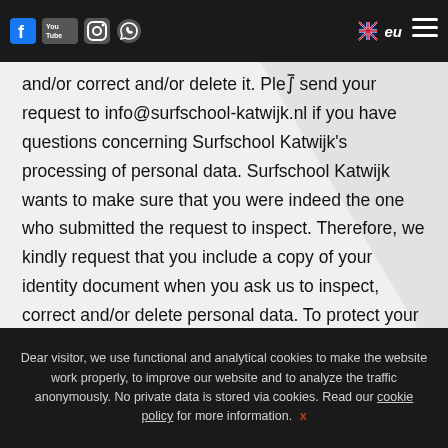Navigation bar with social media icons (Facebook, YouTube, Instagram, WhatsApp), language selector (English/EU), and hamburger menu
and/or correct and/or delete it. Please send your request to info@surfschool-katwijk.nl if you have questions concerning Surfschool Katwijk's processing of personal data. Surfschool Katwijk wants to make sure that you were indeed the one who submitted the request to inspect. Therefore, we kindly request that you include a copy of your identity document when you ask us to inspect, correct and/or delete personal data. To protect your privacy, Surfschool Katwijk asks you to black out your ID photo, the MRZ (machine readable zone, the bar with
Dear visitor, we use functional and analytical cookies to make the website work properly, to improve our website and to analyze the traffic anonymously. No private data is stored via cookies. Read our cookie policy for more information. x